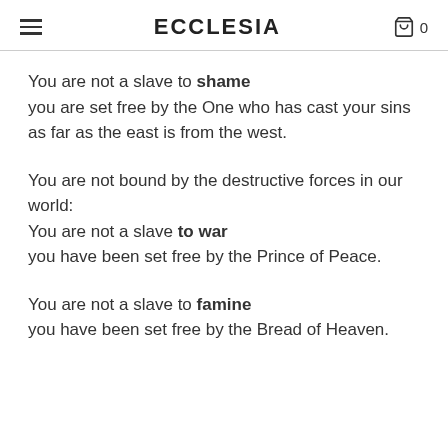ECCLESIA
You are not a slave to shame
    you are set free by the One who has cast your sins as far as the east is from the west.
You are not bound by the destructive forces in our world:
You are not a slave to war
    you have been set free by the Prince of Peace.
You are not a slave to famine
    you have been set free by the Bread of Heaven.